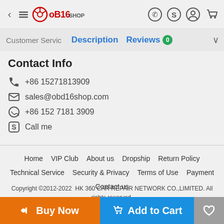OBD16 Shop header with navigation icons
Description | Reviews 0
Contact Info
+86 15271813909
sales@obd16shop.com
+86 152 7181 3909
Call me
Home   VIP Club   About us   Dropship   Return Policy   Technical Service   Security & Privacy   Terms of Use   Payment   Contact us
Copyright ©2012-2022  HK 360 CAR REPAIR NETWORK CO.,LIMITED. All rights reserved.
1st.Floor/ Building1/ 188 Industrial Zone/ Heng Gang/ Longgang District/ Shenzhen City/ China     E-Mail:sales@obd16Shop.com
Buy Now | Add to Cart | Wishlist